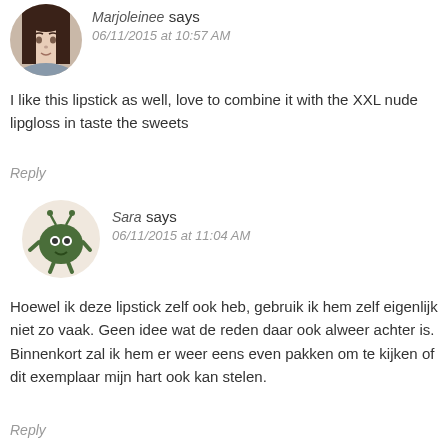[Figure (photo): Circular avatar photo of Marjoleinee, a young woman with light skin and dark hair]
Marjoleinee says
06/11/2015 at 10:57 AM
I like this lipstick as well, love to combine it with the XXL nude lipgloss in taste the sweets
Reply
[Figure (illustration): Circular avatar with cartoon green monster/plant character illustration on beige background]
Sara says
06/11/2015 at 11:04 AM
Hoewel ik deze lipstick zelf ook heb, gebruik ik hem zelf eigenlijk niet zo vaak. Geen idee wat de reden daar ook alweer achter is. Binnenkort zal ik hem er weer eens even pakken om te kijken of dit exemplaar mijn hart ook kan stelen.
Reply